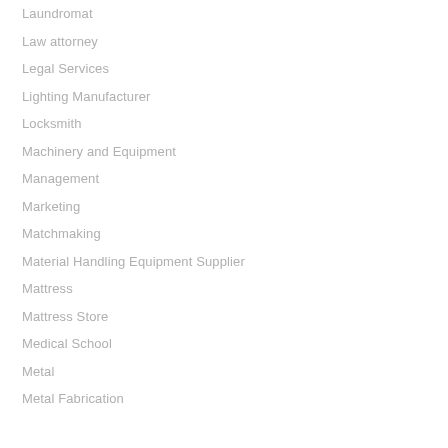Laundromat
Law attorney
Legal Services
Lighting Manufacturer
Locksmith
Machinery and Equipment
Management
Marketing
Matchmaking
Material Handling Equipment Supplier
Mattress
Mattress Store
Medical School
Metal
Metal Fabrication